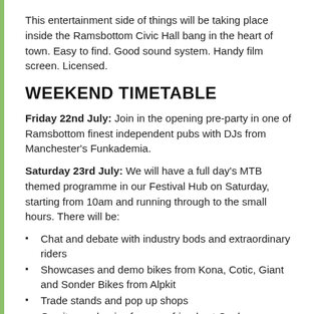This entertainment side of things will be taking place inside the Ramsbottom Civic Hall bang in the heart of town. Easy to find. Good sound system. Handy film screen. Licensed.
WEEKEND TIMETABLE
Friday 22nd July: Join in the opening pre-party in one of Ramsbottom finest independent pubs with DJs from Manchester's Funkademia.
Saturday 23rd July: We will have a full day's MTB themed programme in our Festival Hub on Saturday, starting from 10am and running through to the small hours. There will be:
Chat and debate with industry bods and extraordinary riders
Showcases and demo bikes from Kona, Cotic, Giant and Sonder Bikes from Alpkit
Trade stands and pop up shops
On site mechanics from our friends at Cooksons Cycles
Exclusive MTB films
Bike setup tips from the pros
Proper Northern food and drink (you'll deserve it)
Great live bands